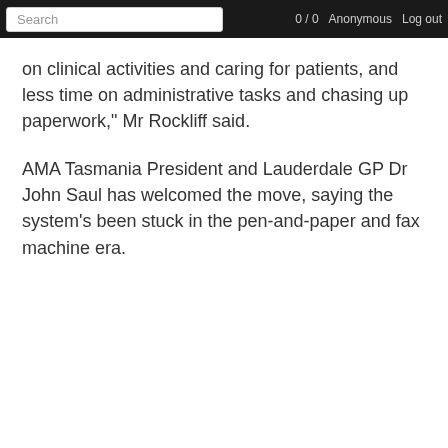Search | 0 / 0 | Anonymous | Log out
on clinical activities and caring for patients, and less time on administrative tasks and chasing up paperwork," Mr Rockliff said.
AMA Tasmania President and Lauderdale GP Dr John Saul has welcomed the move, saying the system's been stuck in the pen-and-paper and fax machine era.